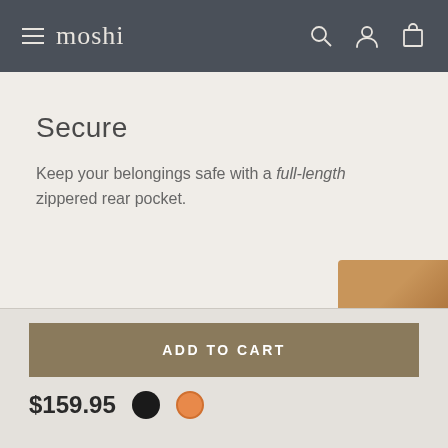≡ moshi
Secure
Keep your belongings safe with a full-length zippered rear pocket.
ADD TO CART
$159.95